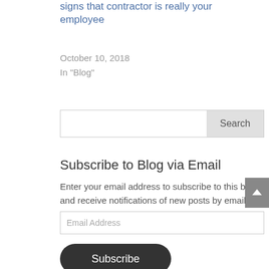signs that contractor is really your employee
October 10, 2018
In "Blog"
Search
Subscribe to Blog via Email
Enter your email address to subscribe to this blog and receive notifications of new posts by email.
Email Address
Subscribe